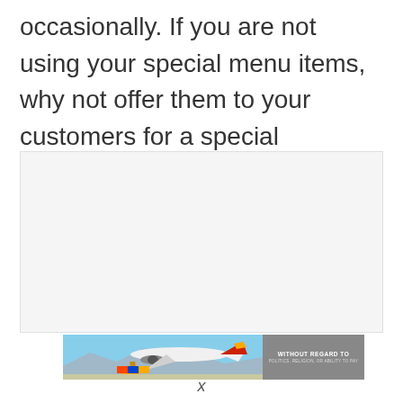occasionally. If you are not using your special menu items, why not offer them to your customers for a special occasion.
[Figure (photo): Advertisement banner showing an airplane being loaded with cargo on a tarmac, with a gray panel on the right showing text 'WITHOUT REGARD TO POLITICS, RELIGION, OR ABILITY TO PAY']